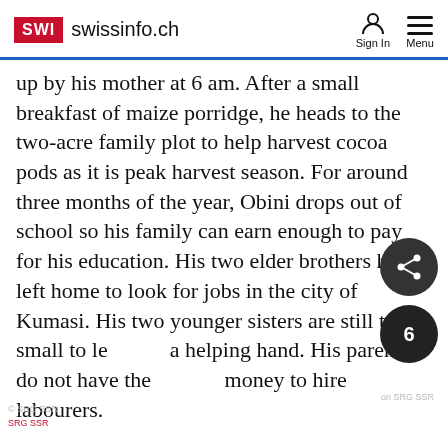SWI swissinfo.ch  Sign In  Menu
up by his mother at 6 am. After a small breakfast of maize porridge, he heads to the two-acre family plot to help harvest cocoa pods as it is peak harvest season. For around three months of the year, Obini drops out of school so his family can earn enough to pay for his education. His two elder brothers have left home to look for jobs in the city of Kumasi. His two younger sisters are still too small to lend a helping hand. His parents do not have the money to hire labourers.
The job must be done by hand as the pods ripen at different times on the same tree. Obini uses a long stick with a metal hook at the end